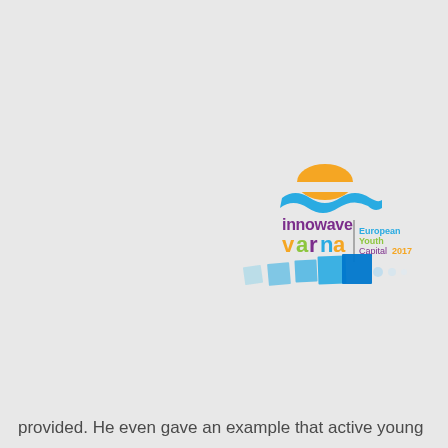[Figure (logo): Innowave Varna logo with European Youth Capital 2017 branding. Features an orange sun, blue wave, colorful text 'innowave varna' in purple/yellow/green, and teal/blue square tiles fading to white dots. Text 'European Youth Capital 2017' appears to the right.]
provided. He even gave an example that active young